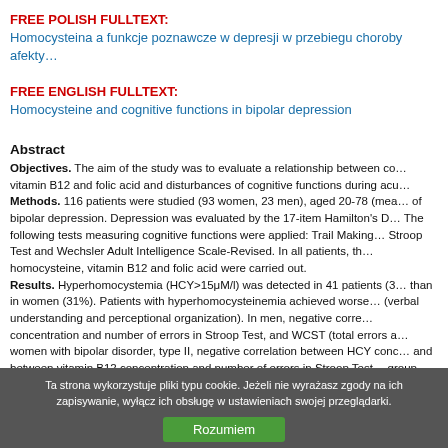FREE POLISH FULLTEXT: Homocysteina a funkcje poznawcze w depresji w przebiegu choroby afekty...
FREE ENGLISH FULLTEXT: Homocysteine and cognitive functions in bipolar depression
Abstract
Objectives. The aim of the study was to evaluate a relationship between co... vitamin B12 and folic acid and disturbances of cognitive functions during acu... Methods. 116 patients were studied (93 women, 23 men), aged 20-78 (mea... of bipolar depression. Depression was evaluated by the 17-item Hamilton's... The following tests measuring cognitive functions were applied: Trail Making... Stroop Test and Wechsler Adult Intelligence Scale-Revised. In all patients, th... homocysteine, vitamin B12 and folic acid were carried out. Results. Hyperhomocystemia (HCY>15μM/l) was detected in 41 patients (3... than in women (31%). Patients with hyperhomocysteinemia achieved worse... (verbal understanding and perceptional organization). In men, negative corre... concentration and number of errors in Stroop Test, and WCST (total errors a... women with bipolar disorder, type II, negative correlation between HCY conc... and between vitamin B12 concentration and number of errors in Stroop Test... group and in men, there was positive correlation between higher folic acid co... errors in Stroop Test. Conclusions. The results obtained show higher HCY concentration in consi... bipolar depression, especially in men. They also confirm a connect between... and worse performance in some neuropsychological tests. Such relationship...
Ta strona wykorzystuje pliki typu cookie. Jeżeli nie wyrażasz zgody na ich zapisywanie, wyłącz ich obsługę w ustawieniach swojej przeglądarki.
Rozumiem